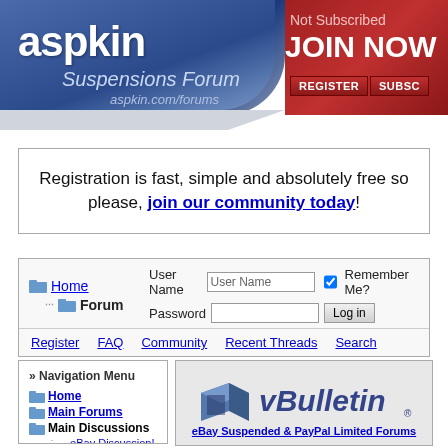[Figure (screenshot): aspkin Suspensions Forum banner header with blue gradient on left showing site name and URL, red gradient on right with JOIN NOW text, REGISTER and SUBSC buttons]
Registration is fast, simple and absolutely free so please, join our community today!
Home | Forum navigation with User Name / Password login fields and Remember Me checkbox, Log in button
Register   FAQ   Community   Recent Threads   Search
» Navigation Menu
Home
Main Forums
Main Discussions
eBay Discussion!
eBay Suspensions
[Figure (logo): vBulletin logo — blue 3D squares and vBulletin text]
eBay Suspended & PayPal Limited Forums